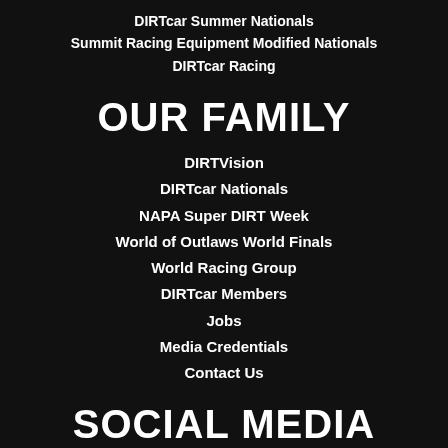DIRTcar Summer Nationals
Summit Racing Equipment Modified Nationals
DIRTcar Racing
OUR FAMILY
DIRTVision
DIRTcar Nationals
NAPA Super DIRT Week
World of Outlaws World Finals
World Racing Group
DIRTcar Members
Jobs
Media Credentials
Contact Us
SOCIAL MEDIA